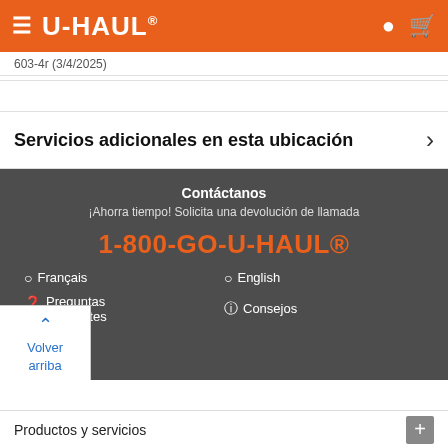U-HAUL
603-4r (3/4/2025)
Servicios adicionales en esta ubicación
Contáctanos
¡Ahorra tiempo! Solicita una devolución de llamada
1-800-GO-U-HAUL®
Français
English
Preguntas frecuentes
Consejos
Productos y servicios